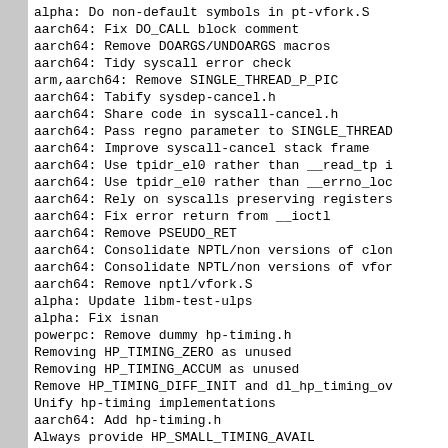alpha: Do non-default symbols in pt-vfork.S
aarch64: Fix DO_CALL block comment
aarch64: Remove DOARGS/UNDOARGS macros
aarch64: Tidy syscall error check
arm,aarch64: Remove SINGLE_THREAD_P_PIC
aarch64: Tabify sysdep-cancel.h
aarch64: Share code in syscall-cancel.h
aarch64: Pass regno parameter to SINGLE_THREAD
aarch64: Improve syscall-cancel stack frame
aarch64: Use tpidr_el0 rather than __read_tp i
aarch64: Use tpidr_el0 rather than __errno_loc
aarch64: Rely on syscalls preserving registers
aarch64: Fix error return from __ioctl
aarch64: Remove PSEUDO_RET
aarch64: Consolidate NPTL/non versions of clon
aarch64: Consolidate NPTL/non versions of vfor
aarch64: Remove nptl/vfork.S
alpha: Update libm-test-ulps
alpha: Fix isnan
powerpc: Remove dummy hp-timing.h
Removing HP_TIMING_ZERO as unused
Removing HP_TIMING_ACCUM as unused
Remove HP_TIMING_DIFF_INIT and dl_hp_timing_ov
Unify hp-timing implementations
aarch64: Add hp-timing.h
Always provide HP_SMALL_TIMING_AVAIL
Rely on HP_TIMING_AVAIL implies HP_SMALL_TIMIN
Changelog for last 8 patches
alpha: Remove round and roundf implementations
alpha: Fix lround implementations